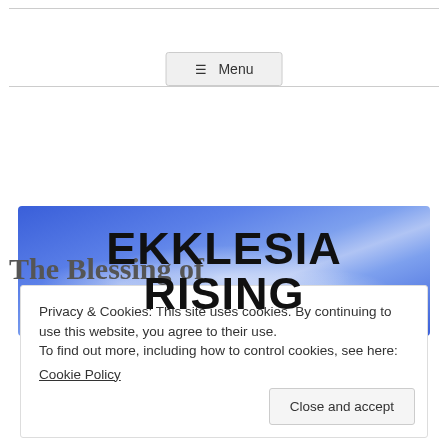≡ Menu
[Figure (logo): Ekklesia Rising banner logo with blue sky and clouds background, bold black text reading EKKLESIA RISING]
The Blessing of
Privacy & Cookies: This site uses cookies. By continuing to use this website, you agree to their use.
To find out more, including how to control cookies, see here:
Cookie Policy
Close and accept